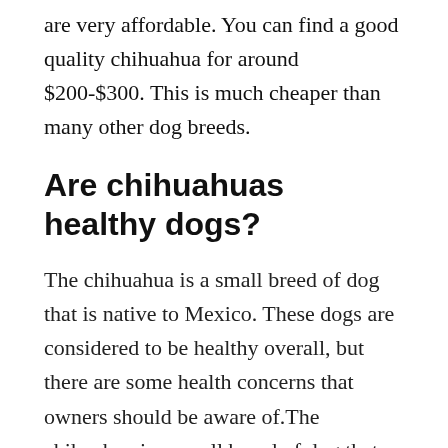are very affordable. You can find a good quality chihuahua for around $200-$300. This is much cheaper than many other dog breeds.
Are chihuahuas healthy dogs?
The chihuahua is a small breed of dog that is native to Mexico. These dogs are considered to be healthy overall, but there are some health concerns that owners should be aware of.The chihuahua is a small breed of dog that typically weighs between 2 and 6 pounds. They are a popular breed in the United States, and there are a number of health concerns